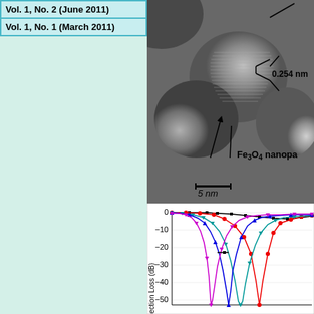Vol. 1, No. 2 (June 2011)
Vol. 1, No. 1 (March 2011)
[Figure (photo): TEM micrograph of Fe3O4 nanoparticles showing lattice fringes with a measured d-spacing of 0.254 nm. Scale bar: 5 nm. Annotations include arrows pointing to the nanoparticle and d-spacing measurement.]
[Figure (line-chart): Line chart showing Reflection Loss (dB) curves for multiple thicknesses: 2.0 mm (black squares), 2.5 mm (red circles), 3.1 mm (blue triangles up), 3.4 mm (partially visible). Y-axis from 0 to below -50 dB.]